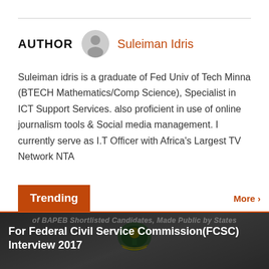AUTHOR  Suleiman Idris
Suleiman idris is a graduate of Fed Univ of Tech Minna (BTECH Mathematics/Comp Science), Specialist in ICT Support Services. also proficient in use of online journalism tools & Social media management. I currently serve as I.T Officer with Africa's Largest TV Network NTA
Trending
[Figure (photo): News article card with dark overlay background, showing Nigerian federal emblem/crest and text about BAPEB shortlisted candidates made public by states for Federal Civil Service Commission (FCSC) Interview 2017. Author: Arowobusoye Samuel, Date: March 19, 2017]
Federal Civil Service Commission released ... Read More